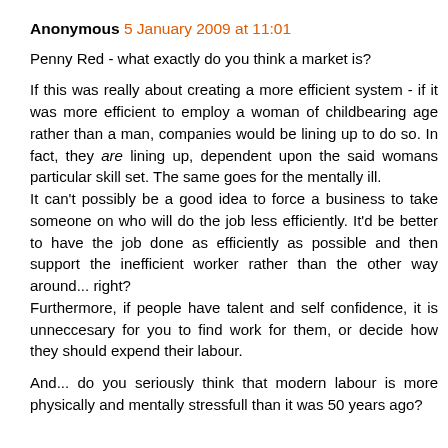Anonymous 5 January 2009 at 11:01
Penny Red - what exactly do you think a market is?
If this was really about creating a more efficient system - if it was more efficient to employ a woman of childbearing age rather than a man, companies would be lining up to do so. In fact, they are lining up, dependent upon the said womans particular skill set. The same goes for the mentally ill.
It can't possibly be a good idea to force a business to take someone on who will do the job less efficiently. It'd be better to have the job done as efficiently as possible and then support the inefficient worker rather than the other way around... right?
Furthermore, if people have talent and self confidence, it is unneccesary for you to find work for them, or decide how they should expend their labour.
And... do you seriously think that modern labour is more physically and mentally stressfull than it was 50 years ago?